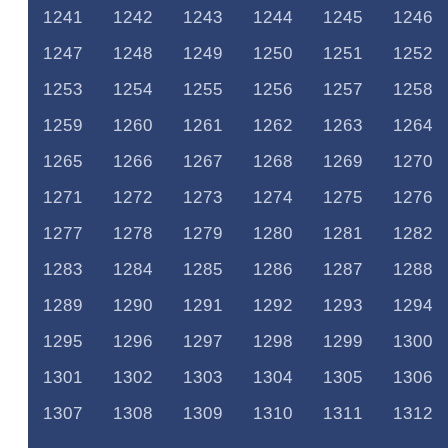| 1241 | 1242 | 1243 | 1244 | 1245 | 1246 |
| 1247 | 1248 | 1249 | 1250 | 1251 | 1252 |
| 1253 | 1254 | 1255 | 1256 | 1257 | 1258 |
| 1259 | 1260 | 1261 | 1262 | 1263 | 1264 |
| 1265 | 1266 | 1267 | 1268 | 1269 | 1270 |
| 1271 | 1272 | 1273 | 1274 | 1275 | 1276 |
| 1277 | 1278 | 1279 | 1280 | 1281 | 1282 |
| 1283 | 1284 | 1285 | 1286 | 1287 | 1288 |
| 1289 | 1290 | 1291 | 1292 | 1293 | 1294 |
| 1295 | 1296 | 1297 | 1298 | 1299 | 1300 |
| 1301 | 1302 | 1303 | 1304 | 1305 | 1306 |
| 1307 | 1308 | 1309 | 1310 | 1311 | 1312 |